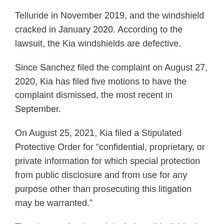Telluride in November 2019, and the windshield cracked in January 2020. According to the lawsuit, the Kia windshields are defective.
Since Sanchez filed the complaint on August 27, 2020, Kia has filed five motions to have the complaint dismissed, the most recent in September.
On August 25, 2021, Kia filed a Stipulated Protective Order for “confidential, proprietary, or private information for which special protection from public disclosure and from use for any purpose other than prosecuting this litigation may be warranted.”
The class action lawsuit includes all individuals in the U.S. who purchased or leased a 2020 or 2021 Kia Telluride.
The lawsuit requests that Kia refund full contract price to